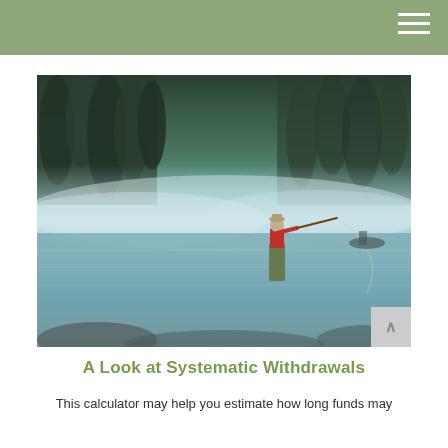[Figure (photo): A fisherman standing in a misty lake fly fishing, surrounded by dense forest in the background with fog hovering over the water surface.]
A Look at Systematic Withdrawals
This calculator may help you estimate how long funds may